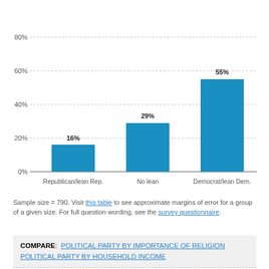[Figure (bar-chart): ]
Sample size = 790. Visit this table to see approximate margins of error for a group of a given size. For full question wording, see the survey questionnaire.
COMPARE: POLITICAL PARTY BY IMPORTANCE OF RELIGION  POLITICAL PARTY BY HOUSEHOLD INCOME